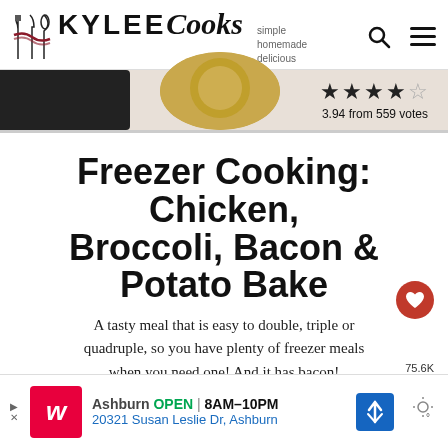Kylee Cooks — simple homemade delicious
[Figure (screenshot): Hero strip with dark button on left, food image in center, 4-star rating (3.94 from 559 votes) on right]
Freezer Cooking: Chicken, Broccoli, Bacon & Potato Bake
A tasty meal that is easy to double, triple or quadruple, so you have plenty of freezer meals when you need one! And it has bacon!
Cook Mode Prevent your screen from going dark
Suggested Equipment
[Figure (screenshot): Walgreens advertisement: Ashburn OPEN 8AM-10PM, 20321 Susan Leslie Dr, Ashburn]